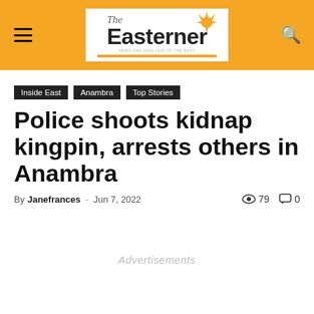The Easterner
Inside East
Anambra
Top Stories
Police shoots kidnap kingpin, arrests others in Anambra
By Janefrances - Jun 7, 2022   79   0
Advertisements